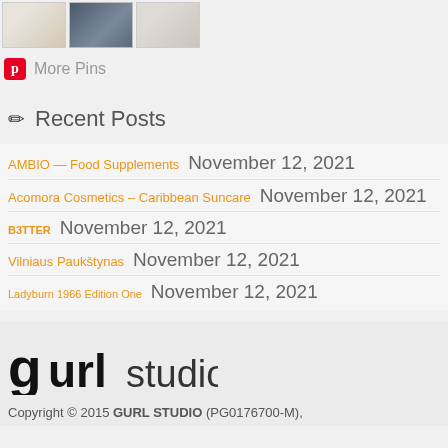[Figure (photo): Three thumbnail images showing candles/spa items, rain/water, and a lotion bottle]
More Pins
Recent Posts
AMBIO — Food Supplements  November 12, 2021
Acomora Cosmetics – Caribbean Suncare  November 12, 2021
B3TTER  November 12, 2021
Vilniaus Paukštynas  November 12, 2021
Ladyburn 1966 Edition One  November 12, 2021
[Figure (logo): gurlstudio logo in black bold text]
Copyright © 2015 GURL STUDIO (PG0176700-M),